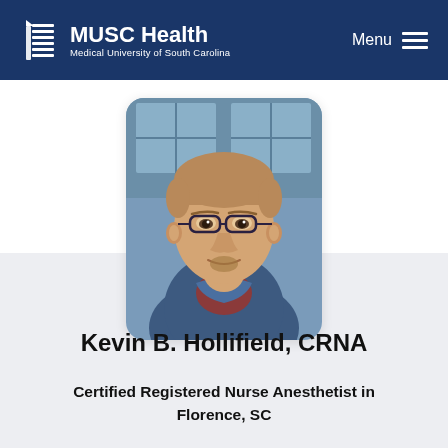MUSC Health — Medical University of South Carolina | Menu
[Figure (photo): Headshot photo of Kevin B. Hollifield, a middle-aged man with glasses, short light-brown hair, wearing a blue vest over a red shirt, standing in front of a building exterior with windows]
Kevin B. Hollifield, CRNA
Certified Registered Nurse Anesthetist in Florence, SC